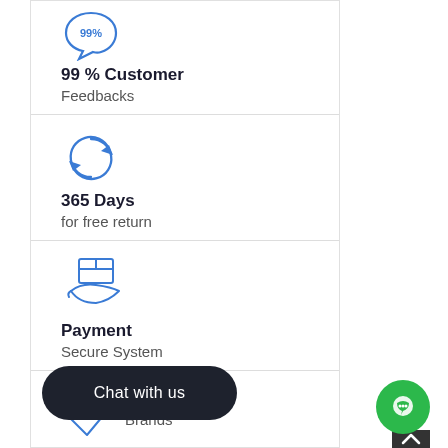[Figure (infographic): Speech bubble icon with 99% text inside, blue outline]
99 % Customer
Feedbacks
[Figure (infographic): Circular arrows / refresh icon, blue outline]
365 Days
for free return
[Figure (infographic): Payment / hand holding box icon, blue outline]
Payment
Secure System
[Figure (infographic): Tag/label icon, blue outline]
Only Best
Brands
Chat with us